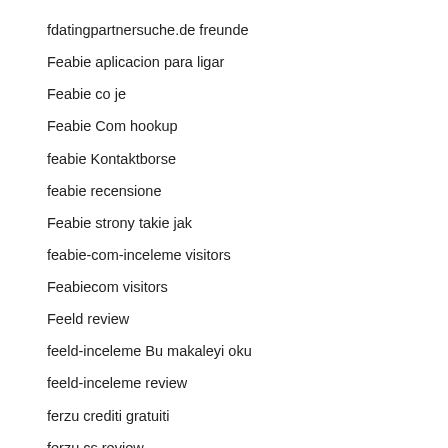fdatingpartnersuche.de freunde
Feabie aplicacion para ligar
Feabie co je
Feabie Com hookup
feabie Kontaktborse
feabie recensione
Feabie strony takie jak
feabie-com-inceleme visitors
Feabiecom visitors
Feeld review
feeld-inceleme Bu makaleyi oku
feeld-inceleme review
ferzu crediti gratuiti
ferzu cs review